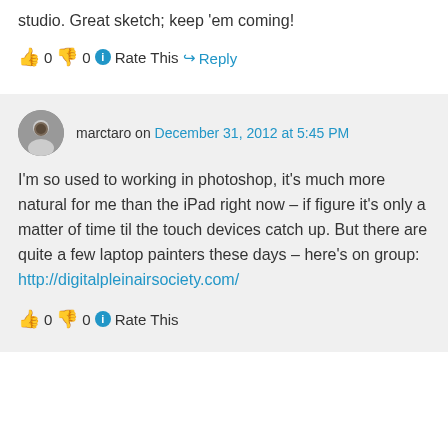studio. Great sketch; keep 'em coming!
👍 0 👎 0 ℹ Rate This
↪ Reply
marctaro on December 31, 2012 at 5:45 PM
I'm so used to working in photoshop, it's much more natural for me than the iPad right now – if figure it's only a matter of time til the touch devices catch up. But there are quite a few laptop painters these days – here's on group:
http://digitalpleinairsociety.com/
👍 0 👎 0 ℹ Rate This